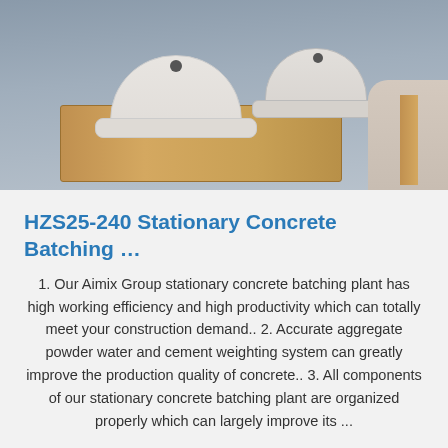[Figure (photo): Top photograph showing white hard hats/caps on a wooden surface with a person's hand visible, gray/industrial background]
HZS25-240 Stationary Concrete Batching …
1. Our Aimix Group stationary concrete batching plant has high working efficiency and high productivity which can totally meet your construction demand.. 2. Accurate aggregate powder water and cement weighting system can greatly improve the production quality of concrete.. 3. All components of our stationary concrete batching plant are organized properly which can largely improve its ...
Get Price
[Figure (logo): TOP logo with blue dotted arc above the text TOP in blue]
[Figure (photo): Bottom photograph showing a close-up of a gray curved surface, possibly concrete or metal]